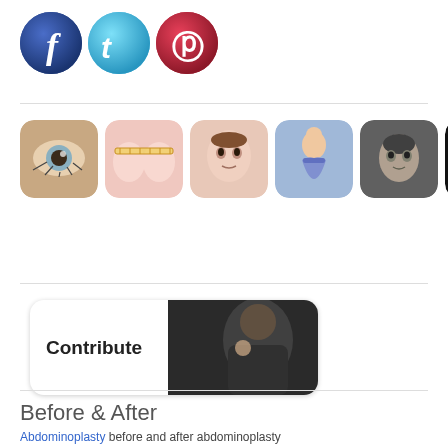[Figure (logo): Social media icons: Facebook (blue circle with f), Twitter (cyan circle with t), Pinterest (red circle with P)]
[Figure (photo): Row of six app icons showing cosmetic surgery related images: eye with surgical markings, breast measurement, woman's face, woman in bikini, woman's face black and white, MAS logo on black background]
[Figure (photo): Contribute button/banner with bold text 'Contribute' on white rounded rectangle, with photo of person on right side]
Before & After
Abdominoplasty before and after abdominoplasty